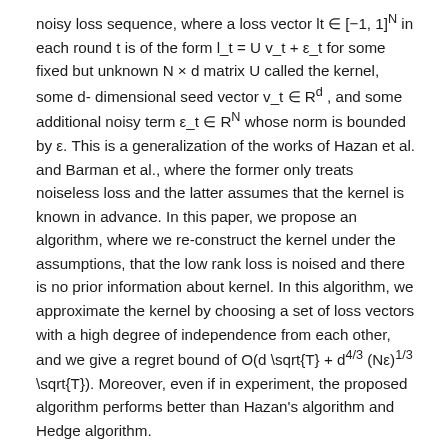noisy loss sequence, where a loss vector lt ∈ [−1, 1]^N in each round t is of the form l_t = U v_t + ε_t for some fixed but unknown N × d matrix U called the kernel, some d-dimensional seed vector v_t ∈ R^d , and some additional noisy term ε_t ∈ R^N whose norm is bounded by ε. This is a generalization of the works of Hazan et al. and Barman et al., where the former only treats noiseless loss and the latter assumes that the kernel is known in advance. In this paper, we propose an algorithm, where we re-construct the kernel under the assumptions, that the low rank loss is noised and there is no prior information about kernel. In this algorithm, we approximate the kernel by choosing a set of loss vectors with a high degree of independence from each other, and we give a regret bound of O(d \sqrt{T} + d^4/3 (Nε)^1/3 \sqrt{T}). Moreover, even if in experiment, the proposed algorithm performs better than Hazan's algorithm and Hedge algorithm.